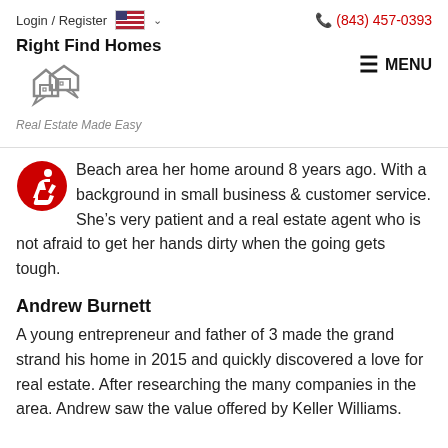Login / Register | (843) 457-0393 | Right Find Homes | Real Estate Made Easy | MENU
Beach area her home around 8 years ago. With a background in small business & customer service. She’s very patient and a real estate agent who is not afraid to get her hands dirty when the going gets tough.
Andrew Burnett
A young entrepreneur and father of 3 made the grand strand his home in 2015 and quickly discovered a love for real estate. After researching the many companies in the area. Andrew saw the value offered by Keller Williams.